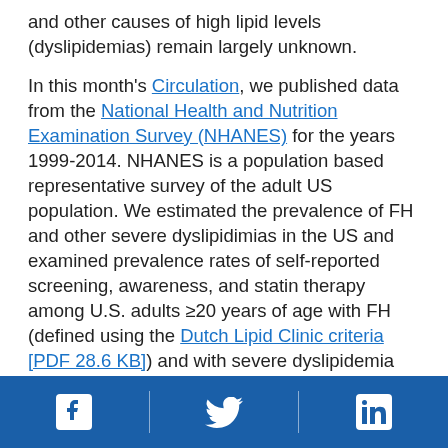and other causes of high lipid levels (dyslipidemias) remain largely unknown.

In this month's Circulation, we published data from the National Health and Nutrition Examination Survey (NHANES) for the years 1999-2014. NHANES is a population based representative survey of the adult US population. We estimated the prevalence of FH and other severe dyslipidimias in the US and examined prevalence rates of self-reported screening, awareness, and statin therapy among U.S. adults ≥20 years of age with FH (defined using the Dutch Lipid Clinic criteria [PDF 28.6 KB]) and with severe dyslipidemia (defined as low-density lipoprotein cholesterol (LDL-C) levels ≥190mg/dL). We found that the US prevalence of definite/probable
[Facebook icon] [Twitter icon] [LinkedIn icon]